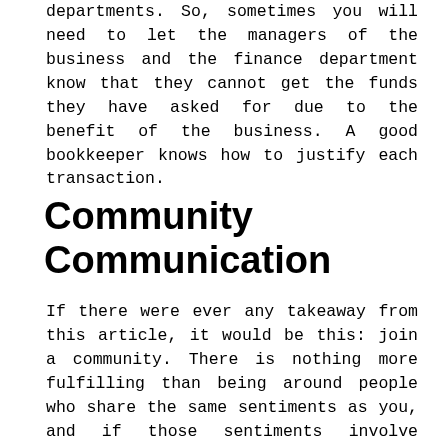departments. So, sometimes you will need to let the managers of the business and the finance department know that they cannot get the funds they have asked for due to the benefit of the business. A good bookkeeper knows how to justify each transaction.
Community Communication
If there were ever any takeaway from this article, it would be this: join a community. There is nothing more fulfilling than being around people who share the same sentiments as you, and if those sentiments involve elevating our career, even better. Thanks to the online and digital world and being able to connect people from all over the world, it is easy to find a place to learn and be inspired by fellow bookkeepers and experts in the industry. So, join a community. You can